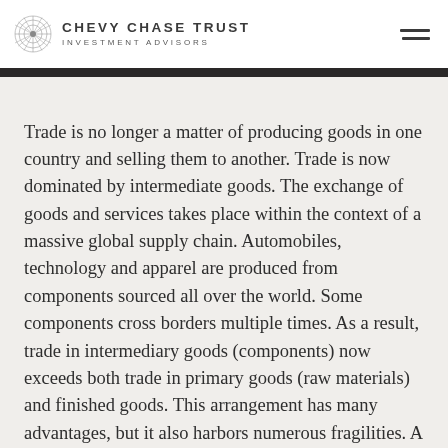CHEVY CHASE TRUST INVESTMENT ADVISORS
Trade is no longer a matter of producing goods in one country and selling them to another. Trade is now dominated by intermediate goods. The exchange of goods and services takes place within the context of a massive global supply chain. Automobiles, technology and apparel are produced from components sourced all over the world. Some components cross borders multiple times. As a result, trade in intermediary goods (components) now exceeds both trade in primary goods (raw materials) and finished goods. This arrangement has many advantages, but it also harbors numerous fragilities. A small fire at a factory in Japan that